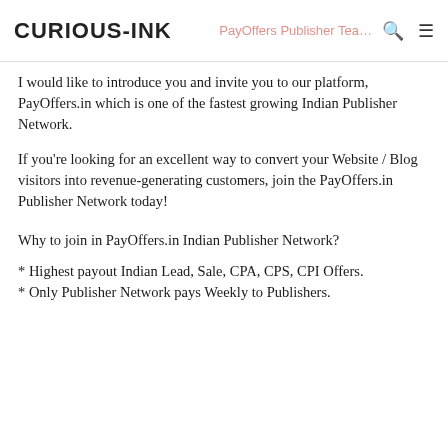CURIOUS-INK | PayOffers Publisher Team
I would like to introduce you and invite you to our platform, PayOffers.in which is one of the fastest growing Indian Publisher Network.
If you're looking for an excellent way to convert your Website / Blog visitors into revenue-generating customers, join the PayOffers.in Publisher Network today!
Why to join in PayOffers.in Indian Publisher Network?
* Highest payout Indian Lead, Sale, CPA, CPS, CPI Offers.
* Only Publisher Network pays Weekly to Publishers.